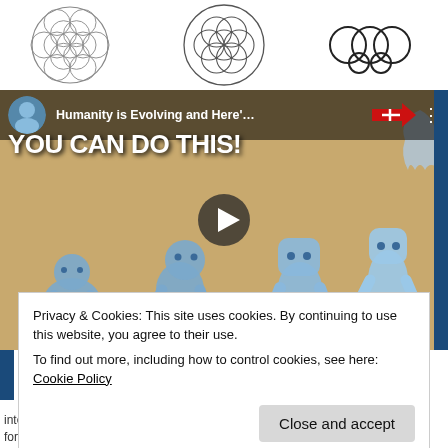[Figure (illustration): Sacred geometry symbols: Flower of Life circle on left, Seed of Life / overlapping circles in center, and a rings/chain symbol on the right, all rendered in black outline on white background.]
[Figure (screenshot): YouTube video thumbnail showing animated blue humanoid figures in an evolution sequence on a sandy/tan background. Title bar reads 'Humanity is Evolving and Here'...' with a red arrow. Large white text overlay reads 'YOU CAN DO THIS!' A play button is centered on the video.]
Privacy & Cookies: This site uses cookies. By continuing to use this website, you agree to their use.
To find out more, including how to control cookies, see here: Cookie Policy
Close and accept
intention is to share and explore spirituality in an open-hearted way, with respect for